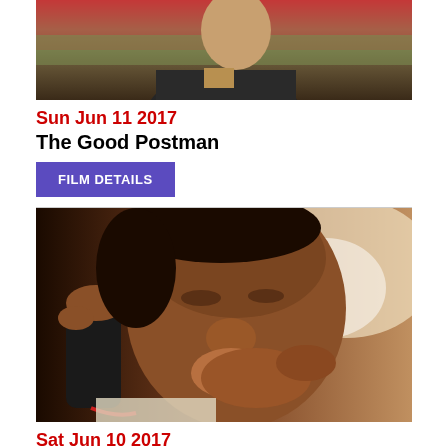[Figure (photo): Cropped photo of a person in a dark jacket, visible from chest/shoulders up, partial view at top of page]
Sun Jun 11 2017
The Good Postman
FILM DETAILS
[Figure (photo): Close-up photo of an elderly person holding a phone to their ear with eyes closed, other hand raised to mouth, emotional expression]
Sat Jun 10 2017
The Apology
FILM DETAILS